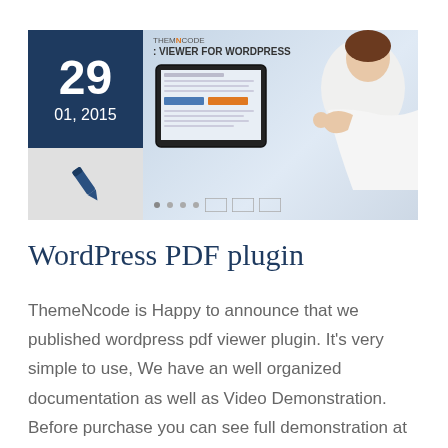[Figure (screenshot): Blog post header image showing a date badge (29, 01, 2015) on the left with a dark navy background, a pen/edit icon below it on grey, and a promotional banner image on the right showing a ThemeNcode PDF Viewer for WordPress advertisement with a woman holding a tablet.]
WordPress PDF plugin
ThemeNcode is Happy to announce that we published wordpress pdf viewer plugin. It's very simple to use, We have an well organized documentation as well as Video Demonstration. Before purchase you can see full demonstration at Youtube! Here are some features of WordPress